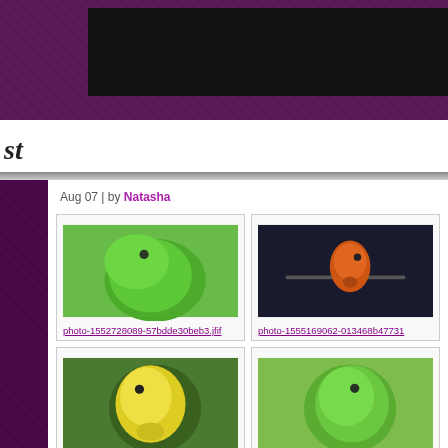[Figure (screenshot): Website header banner with dark purple/maroon textured background and a black rectangle in the upper right area]
st
Aug 07 | by Natasha
[Figure (photo): Green parrot/parakeet photo thumbnail]
photo-1552728089-57bdde30beb3.jfif
[Figure (photo): Orange/red bird perched on a branch against dark background thumbnail]
photo-1555169062-013468b47731
[Figure (photo): Yellow parakeet/lovebird photo thumbnail]
photo-1511823794984-b87716139b88.jfif
[Figure (photo): Green parrot photo thumbnail]
photo-1552728089-57bdde30b